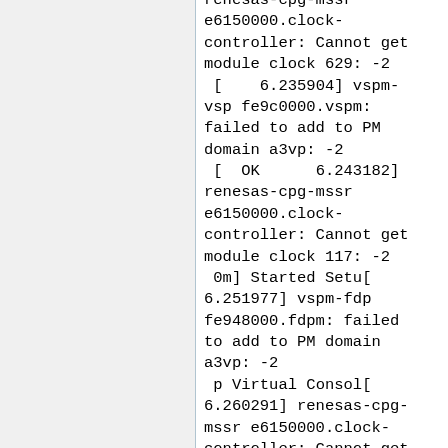renesas-cpg-mssr e6150000.clock-controller: Cannot get module clock 629: -2
 [    6.235904] vspm-vsp fe9c0000.vspm: failed to add to PM domain a3vp: -2
 [  OK      6.243182] renesas-cpg-mssr e6150000.clock-controller: Cannot get module clock 117: -2
 0m] Started Setu[ 6.251977] vspm-fdp fe948000.fdpm: failed to add to PM domain a3vp: -2
 p Virtual Consol[ 6.260291] renesas-cpg-mssr e6150000.clock-controller: Cannot get module clock 600: -2
 e.
 [    6.269367] rcar-